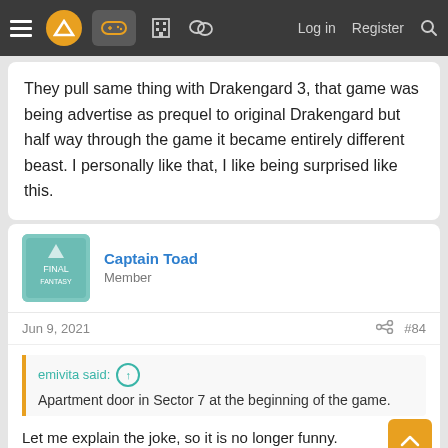Navigation bar with hamburger menu, logo, gamepad icon, building icon, chat icon, Log in, Register, Search
They pull same thing with Drakengard 3, that game was being advertise as prequel to original Drakengard but half way through the game it became entirely different beast. I personally like that, I like being surprised like this.
Captain Toad
Member
Jun 9, 2021  #84
emivita said: Apartment door in Sector 7 at the beginning of the game.
Let me explain the joke, so it is no longer funny.

He was too distracted by Tifa's chest to see anything else in the image.